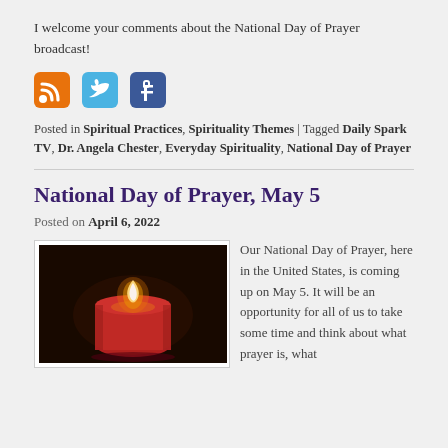I welcome your comments about the National Day of Prayer broadcast!
[Figure (other): Social media icons: RSS feed (orange), Twitter (blue bird), Facebook (blue F)]
Posted in Spiritual Practices, Spirituality Themes | Tagged Daily Spark TV, Dr. Angela Chester, Everyday Spirituality, National Day of Prayer
National Day of Prayer, May 5
Posted on April 6, 2022
[Figure (photo): A red candle lit with a glowing flame, photographed in low light against a dark background.]
Our National Day of Prayer, here in the United States, is coming up on May 5. It will be an opportunity for all of us to take some time and think about what prayer is, what